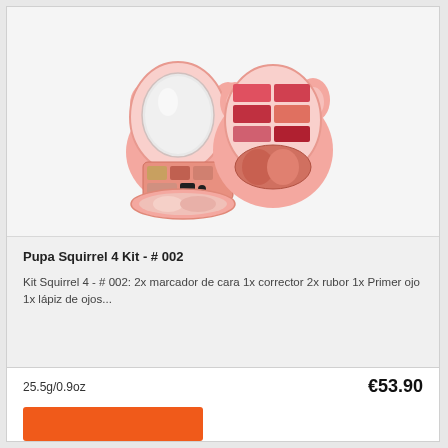[Figure (photo): Pupa Squirrel 4 Kit makeup palette set, showing opened compact with mirror, eyeshadows, lip colors in pink/red tones, and powder compact. Cute squirrel-shaped packaging in pink.]
Pupa Squirrel 4 Kit - # 002
Kit Squirrel 4 - # 002: 2x marcador de cara 1x corrector 2x rubor 1x Primer ojo 1x lápiz de ojos...
25.5g/0.9oz
€53.90